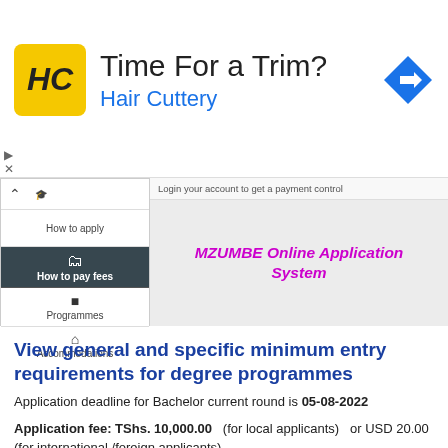[Figure (screenshot): Advertisement banner for Hair Cuttery with yellow logo, title 'Time For a Trim?' and blue subtitle 'Hair Cuttery', with a blue diamond navigation arrow icon on the right.]
[Figure (screenshot): Screenshot of MZUMBE Online Application System webpage showing a sidebar navigation with 'How to apply', 'How to pay fees' (active/highlighted), 'Programmes', and 'Accommodations' menu items, and the main area showing 'MZUMBE Online Application System' in magenta italic bold text, with a login prompt at the top.]
View general and specific minimum entry requirements for degree programmes
Application deadline for Bachelor current round is 05-08-2022
Application fee: TShs. 10,000.00   (for local applicants)   or USD 20.00 (for international /foreign applicants)